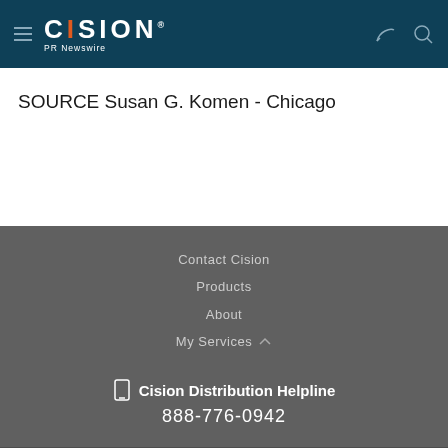CISION PR Newswire
SOURCE Susan G. Komen - Chicago
Contact Cision
Products
About
My Services
Cision Distribution Helpline
888-776-0942
Terms of Use | Privacy Policy | Information Security Policy | Site Map | RSS | Cookie Settings
Copyright © 2022 Cision US Inc.